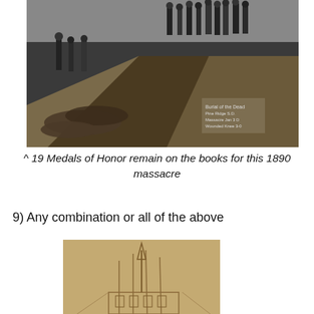[Figure (photo): Black and white historical photograph showing a mass grave trench with bodies, soldiers and civilians standing around it. Text inscription visible in lower right of the image.]
^ 19 Medals of Honor remain on the books for this 1890 massacre
9) Any combination or all of the above
[Figure (illustration): Sepia/tan toned historical illustration or sketch of a building or architectural scene with tall spires or masts.]